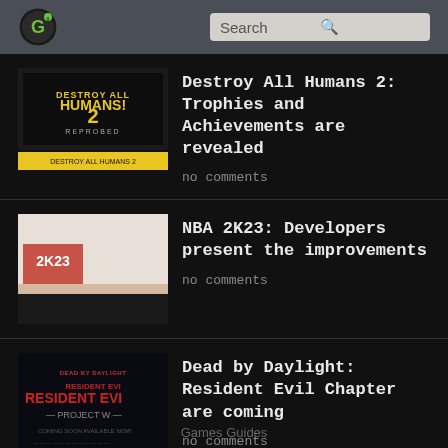Games Guides – Search
Destroy All Humans 2: Trophies and Achievements are revealed
no comments
NBA 2K23: Developers present the improvements
no comments
Dead by Daylight: Resident Evil Chapter are coming
no comments
Games Guides